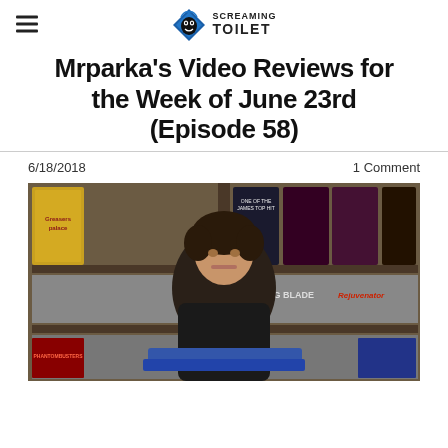Screaming Toilet
Mrparka's Video Reviews for the Week of June 23rd (Episode 58)
6/18/2018
1 Comment
[Figure (photo): A man with curly dark hair wearing a black shirt, sitting in front of shelves filled with VHS tapes and movie cases. Visible titles include Greasers Palace, Sling Blade, and Rejuvenator.]